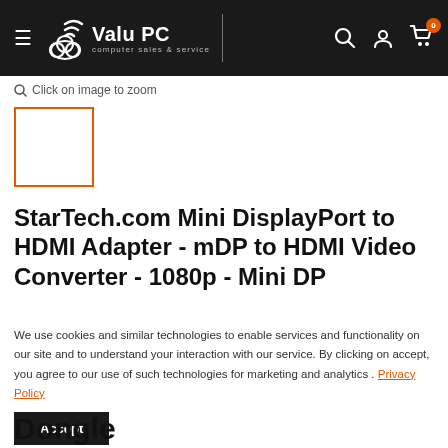Valu PC — computer sales & service
Click on image to zoom
[Figure (other): Small product thumbnail placeholder box with orange border]
StarTech.com Mini DisplayPort to HDMI Adapter - mDP to HDMI Video Converter - 1080p - Mini DP
We use cookies and similar technologies to enable services and functionality on our site and to understand your interaction with our service. By clicking on accept, you agree to our use of such technologies for marketing and analytics . Privacy Policy
Accept
Dongle